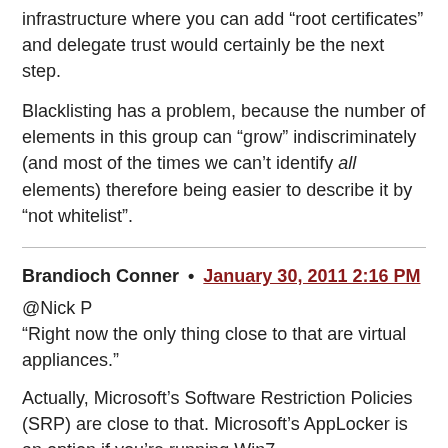infrastructure where you can add “root certificates” and delegate trust would certainly be the next step.
Blacklisting has a problem, because the number of elements in this group can “grow” indiscriminately (and most of the times we can’t identify all elements) therefore being easier to describe it by “not whitelist”.
Brandioch Conner • January 30, 2011 2:16 PM
@Nick P
“Right now the only thing close to that are virtual appliances.”
Actually, Microsoft’s Software Restriction Policies (SRP) are close to that. Microsoft’s AppLocker is an option if you’re running Win7.
There are various 3rd party apps that do a better job.
So no, no virtualization needed.
Bill Frank • January 30, 2011 3:45 PM